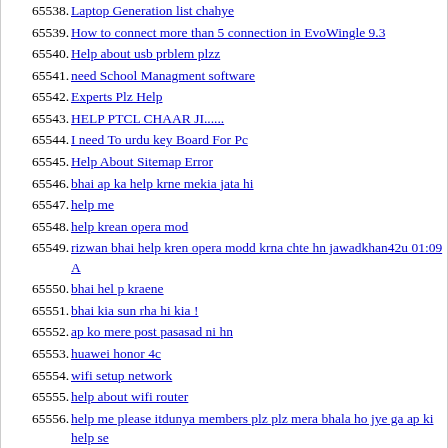65538. Laptop Generation list chahye
65539. How to connect more than 5 connection in EvoWingle 9.3
65540. Help about usb prblem plzz
65541. need School Managment software
65542. Experts Plz Help
65543. HELP PTCL CHAAR JI......
65544. I need To urdu key Board For Pc
65545. Help About Sitemap Error
65546. bhai ap ka help krne mekia jata hi
65547. help me
65548. help krean opera mod
65549. rizwan bhai help kren opera modd krna chte hn jawadkhan42u 01:09 A
65550. bhai hel p kraene
65551. bhai kia sun rha hi kia !
65552. ap ko mere post pasasad ni hn
65553. huawei honor 4c
65554. wifi setup network
65555. help about wifi router
65556. help me please itdunya members plz plz mera bhala ho jye ga ap ki help se
65557. echolink el-6605 mein biss key kaisy enter karain
65558. plz help about write iso file to dvd
65559. dvd format ni ho rhi help plzzz
65560. zong modem unlock help
65561. Wifi Expert Help Meeeeeeee Please
65562. Help!!!
65563. Call.of.Duty.Black.Ops.2 -SKIDROW-
65564. plz help mo